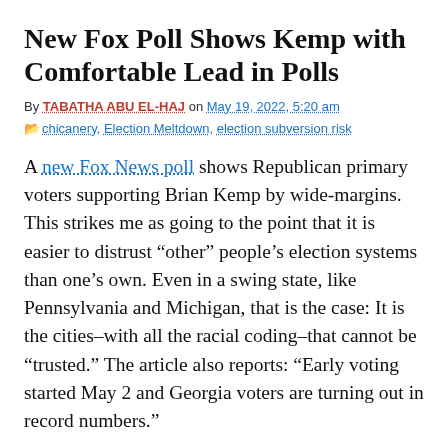New Fox Poll Shows Kemp with Comfortable Lead in Polls
By TABATHA ABU EL-HAJ on May 19, 2022, 5:20 am
chicanery, Election Meltdown, election subversion risk
A new Fox News poll shows Republican primary voters supporting Brian Kemp by wide-margins. This strikes me as going to the point that it is easier to distrust “other” people’s election systems than one’s own. Even in a swing state, like Pennsylvania and Michigan, that is the case: It is the cities–with all the racial coding–that cannot be “trusted.” The article also reports: “Early voting started May 2 and Georgia voters are turning out in record numbers.”